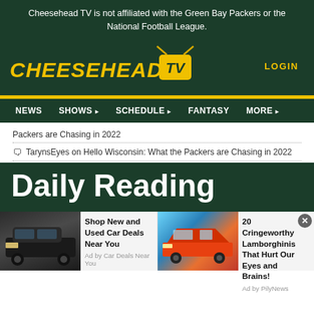Cheesehead TV is not affiliated with the Green Bay Packers or the National Football League.
[Figure (logo): Cheesehead TV logo with yellow text and TV badge on dark green background]
LOGIN
NEWS
SHOWS ▾
SCHEDULE ▾
FANTASY
MORE ▾
Packers are Chasing in 2022
TarynsEyes on Hello Wisconsin: What the Packers are Chasing in 2022
Daily Reading
[Figure (photo): Advertisement: dark SUV car - Shop New and Used Car Deals Near You. Ad by Car Deals Near You.]
[Figure (photo): Advertisement: blue/orange Lamborghini - 20 Cringeworthy Lamborghinis That Hurt Our Eyes and Brains! Ad by PilyNews.]